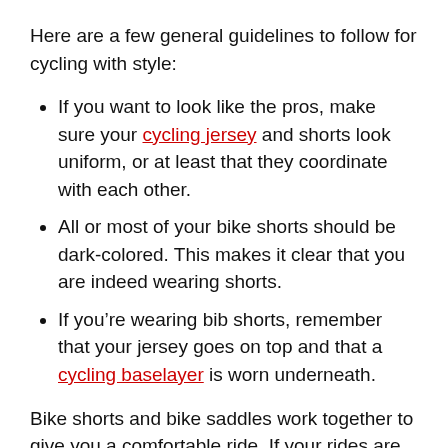Here are a few general guidelines to follow for cycling with style:
If you want to look like the pros, make sure your cycling jersey and shorts look uniform, or at least that they coordinate with each other.
All or most of your bike shorts should be dark-colored. This makes it clear that you are indeed wearing shorts.
If you’re wearing bib shorts, remember that your jersey goes on top and that a cycling baselayer is worn underneath.
Bike shorts and bike saddles work together to give you a comfortable ride. If your rides are uncomfortable, your shorts may not be the culprit. A properly sized saddle may make all the difference. First, learn how to measure your sit bone width for your saddle size, and then choose from our selection of 10 of the best road bike saddles to see if any are the perfect fit